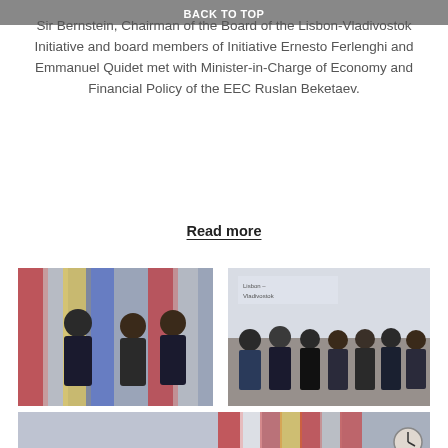BACK TO TOP
Sir Bernstein, Chairman of the Board of the Lisbon-Vladivostok Initiative and board members of Initiative Ernesto Ferlenghi and Emmanuel Quidet met with Minister-in-Charge of Economy and Financial Policy of the EEC Ruslan Beketaev.
Read more
[Figure (photo): Two men standing in front of national flags in an official office setting]
[Figure (photo): Group of men in suits standing together at an event with a Lisbon-Vladivostok Initiative backdrop]
[Figure (photo): Four men standing in front of national flags, one holding a document/book, in an official office setting with a map on the wall]